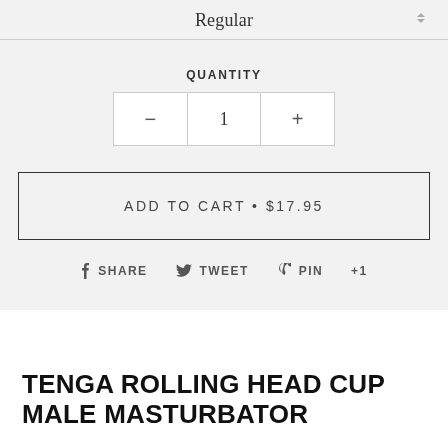Regular
QUANTITY
1
ADD TO CART • $17.95
SHARE  TWEET  PIN  +1
TENGA ROLLING HEAD CUP MALE MASTURBATOR